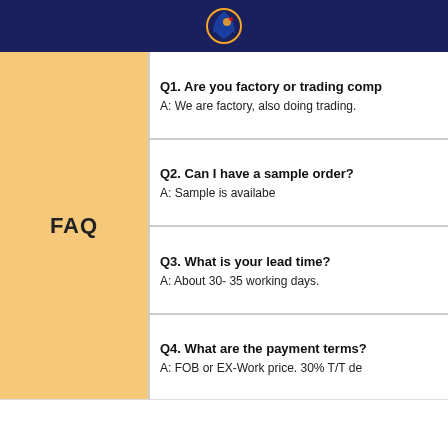FAQ
Q1. Are you factory or trading company?
A: We are factory, also doing trading.
Q2. Can I have a sample order?
A: Sample is availabe
Q3. What is your lead time?
A: About 30- 35 working days.
Q4. What are the payment terms?
A: FOB or EX-Work price. 30% T/T de